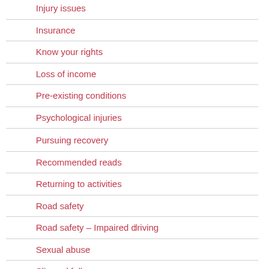Injury issues
Insurance
Know your rights
Loss of income
Pre-existing conditions
Psychological injuries
Pursuing recovery
Recommended reads
Returning to activities
Road safety
Road safety – Impaired driving
Sexual abuse
Slip and fall